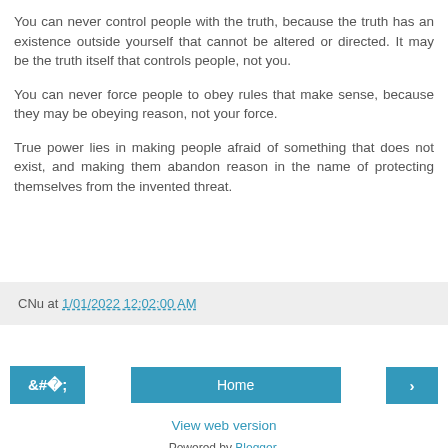You can never control people with the truth, because the truth has an existence outside yourself that cannot be altered or directed. It may be the truth itself that controls people, not you.
You can never force people to obey rules that make sense, because they may be obeying reason, not your force.
True power lies in making people afraid of something that does not exist, and making them abandon reason in the name of protecting themselves from the invented threat.
CNu at 1/01/2022 12:02:00 AM
< Home >
View web version
Powered by Blogger.